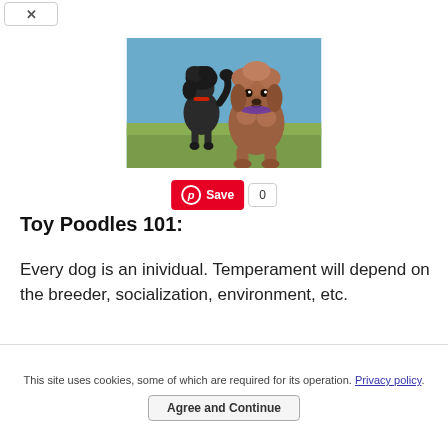[Figure (photo): Two poodles running outdoors on green grass with a blue sky background. One dark/black poodle in the background and one brown/auburn poodle in the foreground facing the camera.]
Save 0
Toy Poodles 101:
Every dog is an inividual. Temperament will depend on the breeder, socialization, environment, etc.
This site uses cookies, some of which are required for its operation. Privacy policy.
Agree and Continue